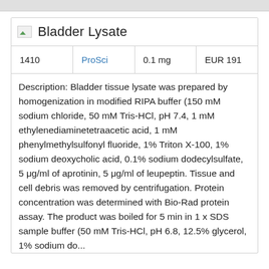Bladder Lysate
| ID | Supplier | Amount | Price |
| --- | --- | --- | --- |
| 1410 | ProSci | 0.1 mg | EUR 191 |
Description: Bladder tissue lysate was prepared by homogenization in modified RIPA buffer (150 mM sodium chloride, 50 mM Tris-HCl, pH 7.4, 1 mM ethylenediaminetetraacetic acid, 1 mM phenylmethylsulfonyl fluoride, 1% Triton X-100, 1% sodium deoxycholic acid, 0.1% sodium dodecylsulfate, 5 μg/ml of aprotinin, 5 μg/ml of leupeptin. Tissue and cell debris was removed by centrifugation. Protein concentration was determined with Bio-Rad protein assay. The product was boiled for 5 min in 1 x SDS sample buffer (50 mM Tris-HCl, pH 6.8, 12.5% glycerol, 1% sodium...